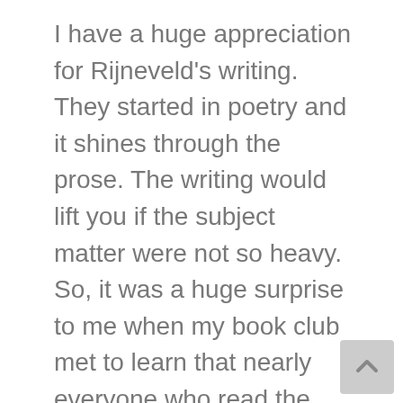I have a huge appreciation for Rijneveld's writing. They started in poetry and it shines through the prose. The writing would lift you if the subject matter were not so heavy. So, it was a huge surprise to me when my book club met to learn that nearly everyone who read the translation didn't like it. They found it almost an affront. Incredibly difficult to deal with the material and the quality of the writing didn't shine through. I looked at the English translation and found it disappointing. There was word play that could have shifted to English but didn't. It felt like there were many lost opportunities. I can only conclude that Rijneveld and her translator were trying to